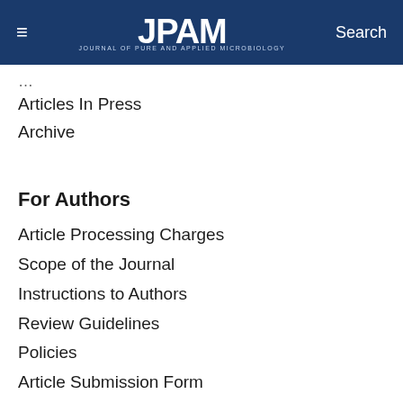≡  JPAM  Search
Articles In Press
Archive
For Authors
Article Processing Charges
Scope of the Journal
Instructions to Authors
Review Guidelines
Policies
Article Submission Form
For Reviewers
Scope of the Journal